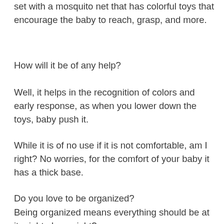set with a mosquito net that has colorful toys that encourage the baby to reach, grasp, and more.
How will it be of any help?
Well, it helps in the recognition of colors and early response, as when you lower down the toys, baby push it.
While it is of no use if it is not comfortable, am I right? No worries, for the comfort of your baby it has a thick base.
Do you love to be organized?
Being organized means everything should be at its right place, right?